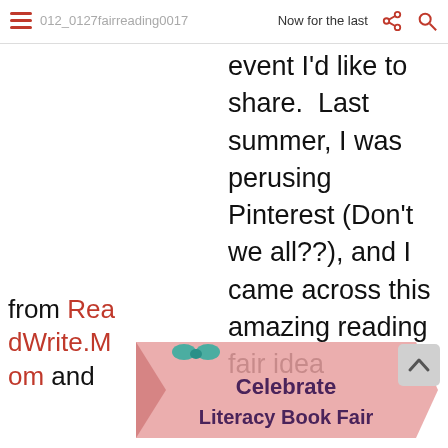012_0127fairreading0017   Now for the last
event I'd like to share.  Last summer, I was perusing Pinterest (Don't we all??), and I came across this amazing reading fair idea
from ReadWrite.Mom and
[Figure (illustration): Pink ribbon/banner with 'Celebrate Literacy Book Fair' text in purple bold font, with a small teal decorative element at top]